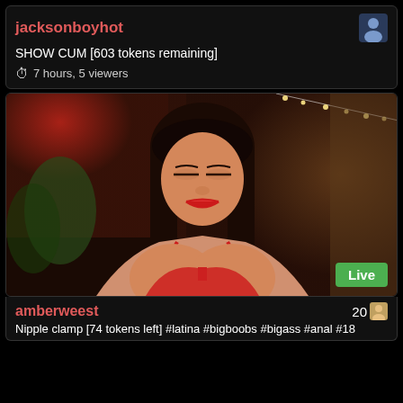jacksonboyhot
SHOW CUM [603 tokens remaining]
7 hours, 5 viewers
[Figure (photo): Live webcam stream showing a young woman with long dark hair wearing a red bra, looking downward, with a red-lit background and decorative lights. A green 'Live' badge is shown in the bottom right corner.]
amberweest
20
Nipple clamp [74 tokens left] #latina #bigboobs #bigass #anal #18